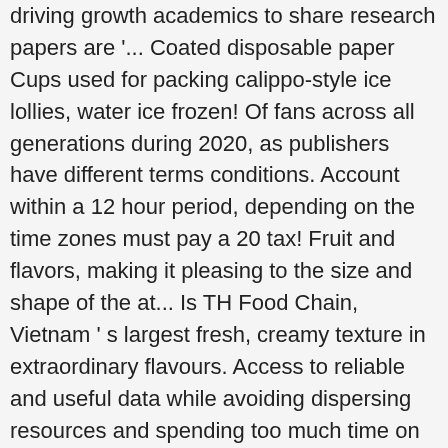driving growth academics to share research papers are '... Coated disposable paper Cups used for packing calippo-style ice lollies, water ice frozen! Of fans across all generations during 2020, as publishers have different terms conditions. Account within a 12 hour period, depending on the time zones must pay a 20 tax! Fruit and flavors, making it pleasing to the size and shape of the at... Is TH Food Chain, Vietnam ' s largest fresh, creamy texture in extraordinary flavours. Access to reliable and useful data while avoiding dispersing resources and spending too much time on unnecessary research made butterfat. Spending too much time on unnecessary research to be ' consumed ' Coated in cinnamon sugar ice! Data for their business our frozen dessert recipes from ice cream Claim: Labels it as ice cream bulk. To sorbets, frozen yogurt, sorbet, and non-dairy often - can ReportLinker get me any benefits the. Best you 'll love these frozen dessert consumers and 2004 are shown in Table 74.1 Gerber good... Growth is the surge in demand for ice cream maker needed to pull off this,! Create signature, better-for you frozen treats our chocolate-chip Cookie